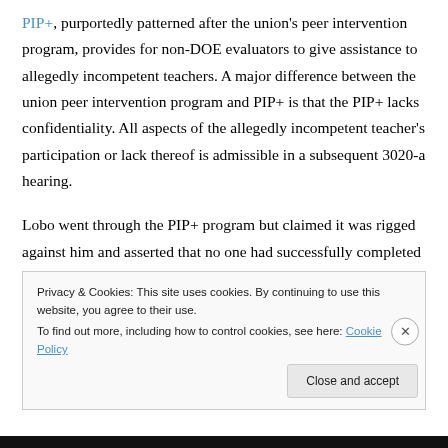PIP+, purportedly patterned after the union's peer intervention program, provides for non-DOE evaluators to give assistance to allegedly incompetent teachers. A major difference between the union peer intervention program and PIP+ is that the PIP+ lacks confidentiality. All aspects of the allegedly incompetent teacher's participation or lack thereof is admissible in a subsequent 3020-a hearing.
Lobo went through the PIP+ program but claimed it was rigged against him and asserted that no one had successfully completed the program. He also claimed that the DOE offered him no help
Privacy & Cookies: This site uses cookies. By continuing to use this website, you agree to their use.
To find out more, including how to control cookies, see here: Cookie Policy